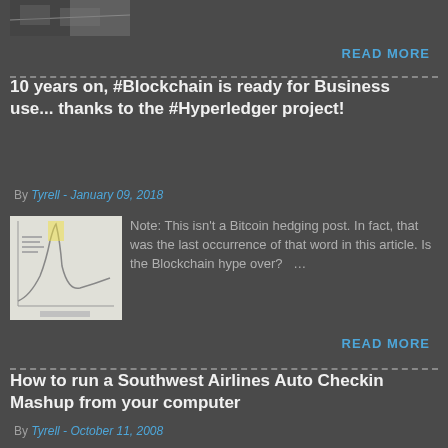[Figure (photo): Small thumbnail photo at top left, dark/grayscale image]
READ MORE
10 years on, #Blockchain is ready for Business use... thanks to the #Hyperledger project!
By Tyrell - January 09, 2018
[Figure (illustration): Thumbnail showing a Gartner hype cycle chart for emerging technologies]
Note: This isn't a Bitcoin hedging post. In fact, that was the last occurrence of that word in this article. Is the Blockchain hype over?
READ MORE
How to run a Southwest Airlines Auto Checkin Mashup from your computer
By Tyrell - October 11, 2008